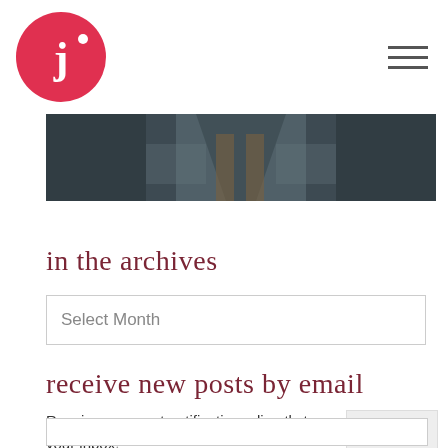j• [logo] [hamburger menu]
[Figure (photo): Dark cropped photo showing a person's hands/lap area, appears to be sitting in a chair or vehicle, dark muted tones]
in the archives
Select Month
receive new posts by email
Receive new post notifications directly to your inbox!